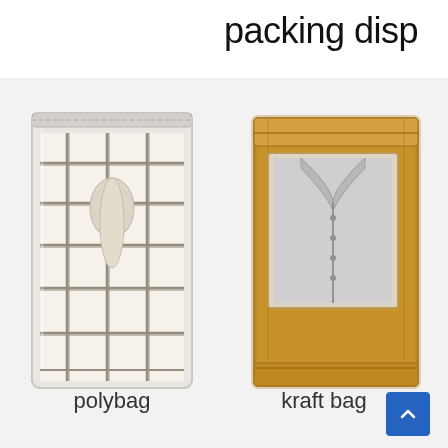packing disp
[Figure (photo): A folded plaid shirt in a clear polybag with zipper closure]
[Figure (photo): A folded grey garment in a kraft paper bag with clear window]
polybag
kraft bag